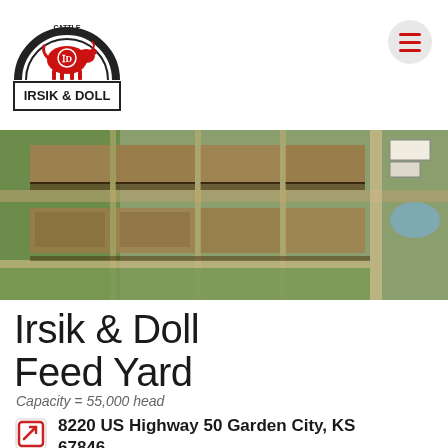[Figure (logo): Irsik & Doll cattle company logo: semicircle with cow silhouette and text, rectangular badge below reading IRSIK & DOLL]
[Figure (photo): Aerial satellite photograph of a large cattle feed yard facility showing pens, feed bunks, manure lanes, and farm buildings from above]
Irsik & Doll Feed Yard
Capacity = 55,000 head
8220 US Highway 50 Garden City, KS 67846